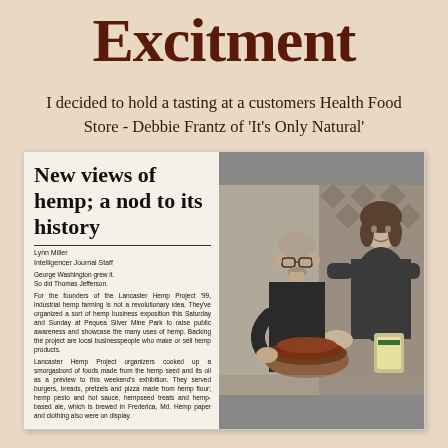Excitment
I decided to hold a tasting at a customers Health Food Store - Debbie Frantz of 'It's Only Natural'
[Figure (photo): Scanned newspaper clipping with headline 'New views of hemp; a nod to its history' by Lynn Miller, Intelligencer Journal Staff. Article about Lancaster Hemp Project '99 and industrial hemp farming. Photo shows two people (a man and a woman) holding a bowl of food and hemp products.]